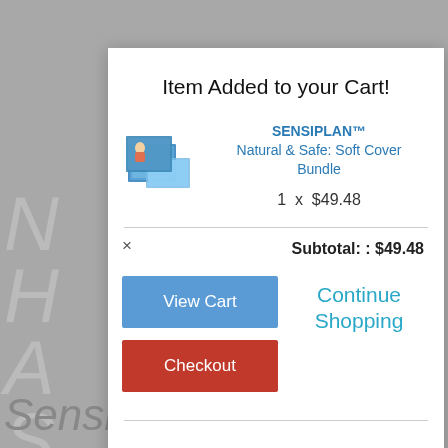Item Added to your Cart!
SENSIPLAN™ Natural & Safe: Soft Cover Bundle
1 x $49.48
Subtotal: : $49.48
View Cart
Checkout
Continue Shopping
Sensiplan™